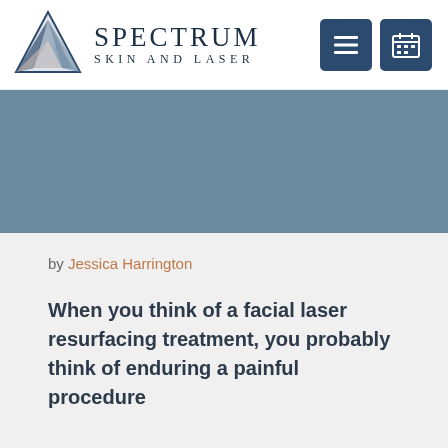[Figure (logo): Spectrum Skin and Laser logo with triangle/prism graphic and text]
[Figure (photo): Blue-grey hero banner image area]
by Jessica Harrington
When you think of a facial laser resurfacing treatment, you probably think of enduring a painful procedure